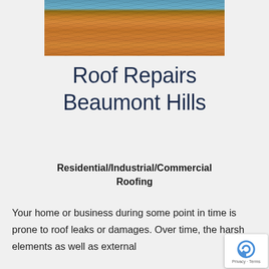[Figure (photo): A worker on a ladder on an orange/terracotta tiled roof with trees and sky in the background]
Roof Repairs Beaumont Hills
Residential/Industrial/Commercial Roofing
Your home or business during some point in time is prone to roof leaks or damages. Over time, the harsh elements as well as external